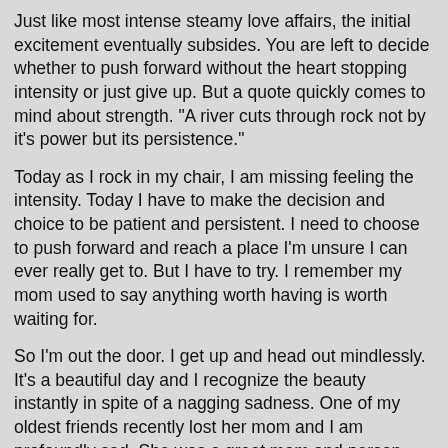Just like most intense steamy love affairs, the initial excitement eventually subsides. You are left to decide whether to push forward without the heart stopping intensity or just give up. But a quote quickly comes to mind about strength. "A river cuts through rock not by it's power but its persistence."
Today as I rock in my chair, I am missing feeling the intensity. Today I have to make the decision and choice to be patient and persistent. I need to choose to push forward and reach a place I'm unsure I can ever really get to. But I have to try. I remember my mom used to say anything worth having is worth waiting for. So I'm out the door. I get up and head out mindlessly. It's a beautiful day and I recognize the beauty instantly in spite of a nagging sadness. One of my oldest friends recently lost her mom and I am profoundly sad. She was a great mom and person and the world lost her far too soon. She was the kind of mom everyone wishes they had. I connected with my friend in so many ways having lost both of my own parents. The most intense recognition for me was simply the look on my friend's face when I last saw her. When she got out of my car I instantly recognized the look in her eyes as she lingered in the passenger door for a split moment. You are just never the same when you lose your mom. As